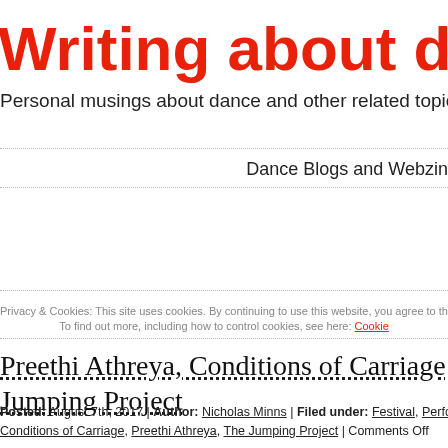Writing about dance
Personal musings about dance and other related topics
Dance Blogs and Webzines
Privacy & Cookies: This site uses cookies. By continuing to use this website, you agree to their use. To find out more, including how to control cookies, see here: Cookie Policy
Preethi Athreya, Conditions of Carriage and The Jumping Project
Posted: August 7th, 2017 | Author: Nicholas Minns | Filed under: Festival, Performance | Tags: Conditions of Carriage, Preethi Athreya, The Jumping Project | Comments Off